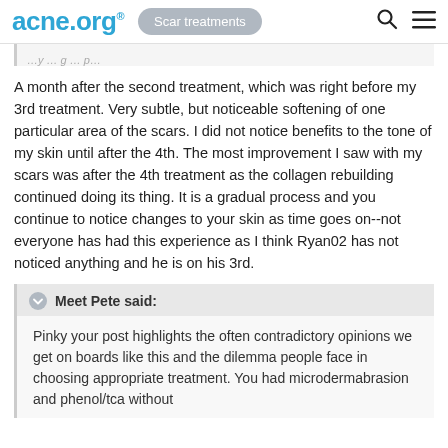acne.org® — Scar treatments
A month after the second treatment, which was right before my 3rd treatment. Very subtle, but noticeable softening of one particular area of the scars. I did not notice benefits to the tone of my skin until after the 4th. The most improvement I saw with my scars was after the 4th treatment as the collagen rebuilding continued doing its thing. It is a gradual process and you continue to notice changes to your skin as time goes on--not everyone has had this experience as I think Ryan02 has not noticed anything and he is on his 3rd.
Meet Pete said:
Pinky your post highlights the often contradictory opinions we get on boards like this and the dilemma people face in choosing appropriate treatment. You had microdermabrasion and phenol/tca without